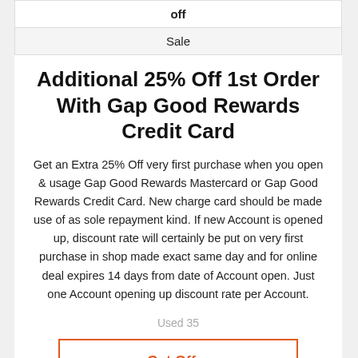| off | Sale |
| --- | --- |
Additional 25% Off 1st Order With Gap Good Rewards Credit Card
Get an Extra 25% Off very first purchase when you open & usage Gap Good Rewards Mastercard or Gap Good Rewards Credit Card. New charge card should be made use of as sole repayment kind. If new Account is opened up, discount rate will certainly be put on very first purchase in shop made exact same day and for online deal expires 14 days from date of Account open. Just one Account opening up discount rate per Account.
Used 35
Get Offer
in Gap Coupons